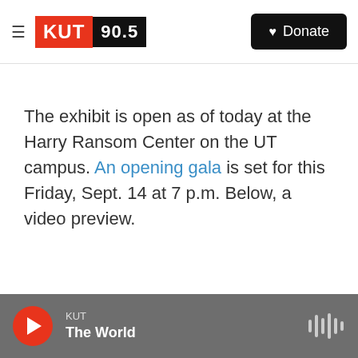KUT 90.5 | Donate
The exhibit is open as of today at the Harry Ransom Center on the UT campus. An opening gala is set for this Friday, Sept. 14 at 7 p.m. Below, a video preview.
KUT — The World